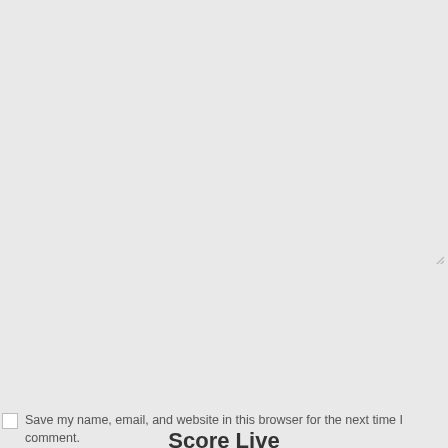Comment
Name*
Email*
Website
Save my name, email, and website in this browser for the next time I comment.
Post Comment
Score Live